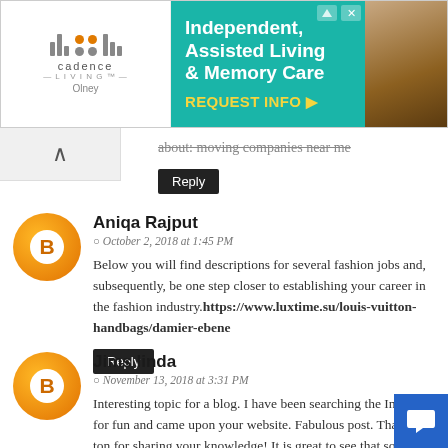[Figure (infographic): Advertisement banner for Cadence Living - Independent, Assisted Living & Memory Care with a teal/green background, logo on left, headline and CTA in center, photo of people on right.]
about: moving companies near me
Reply
Aniqa Rajput
October 2, 2018 at 1:45 PM
Below you will find descriptions for several fashion jobs and, subsequently, be one step closer to establishing your career in the fashion industry.https://www.luxtime.su/louis-vuitton-handbags/damier-ebene
Reply
Jims linda
November 13, 2018 at 3:31 PM
Interesting topic for a blog. I have been searching the Internet for fun and came upon your website. Fabulous post. Thanks a ton for sharing your knowledge! It is great to see that some people still put in an effort into